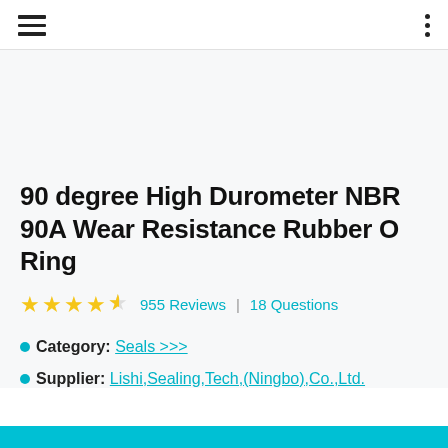Navigation header with hamburger menu and options dots
90 degree High Durometer NBR 90A Wear Resistance Rubber O Ring
★★★★☆ 955 Reviews | 18 Questions
Category: Seals >>>
Supplier: Lishi,Sealing,Tech,(Ningbo),Co.,Ltd.